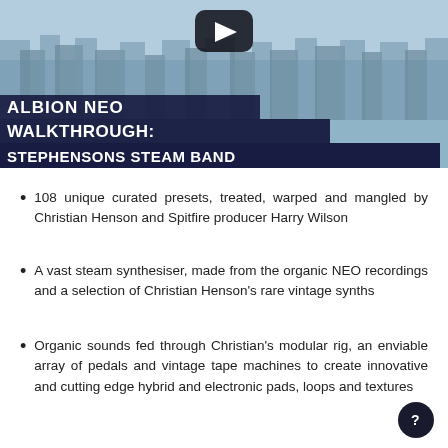[Figure (screenshot): YouTube-style video thumbnail showing a snowy winter forest aerial view with a play button overlay and text overlay reading 'ALBION NEO WALKTHROUGH: STEPHENSONS STEAM BAND' on dark navy background strips]
108 unique curated presets, treated, warped and mangled by Christian Henson and Spitfire producer Harry Wilson
A vast steam synthesiser, made from the organic NEO recordings and a selection of Christian Henson's rare vintage synths
Organic sounds fed through Christian's modular rig, an enviable array of pedals and vintage tape machines to create innovative and cutting edge hybrid and electronic pads, loops and textures